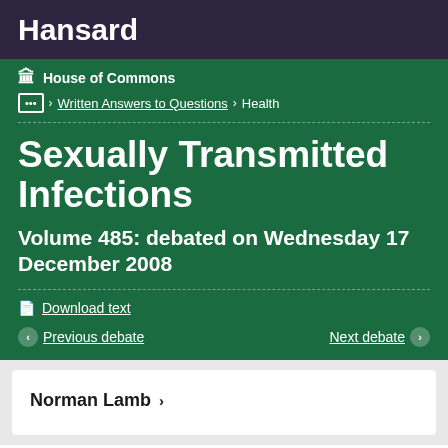Hansard
House of Commons
... > Written Answers to Questions > Health
Sexually Transmitted Infections
Volume 485: debated on Wednesday 17 December 2008
Download text
Previous debate
Next debate
Norman Lamb >